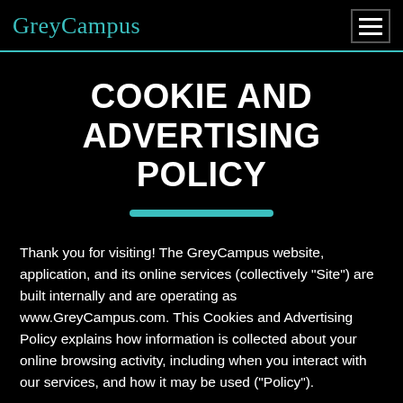GreyCampus
COOKIE AND ADVERTISING POLICY
Thank you for visiting! The GreyCampus website, application, and its online services (collectively “Site”) are built internally and are operating as www.GreyCampus.com. This Cookies and Advertising Policy explains how information is collected about your online browsing activity, including when you interact with our services, and how it may be used (“Policy”).